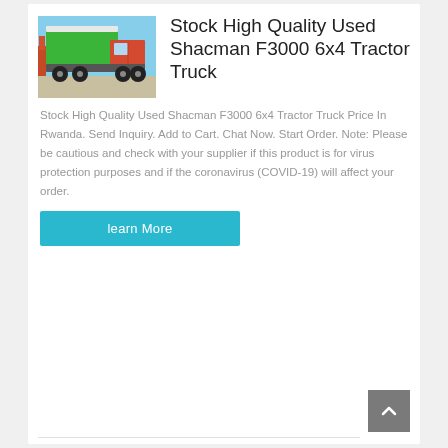[Figure (photo): Green Shacman F3000 6x4 dump truck parked outdoors with green tarp cover on the bed]
Stock High Quality Used Shacman F3000 6x4 Tractor Truck
Stock High Quality Used Shacman F3000 6x4 Tractor Truck Price In Rwanda. Send Inquiry. Add to Cart. Chat Now. Start Order. Note: Please be cautious and check with your supplier if this product is for virus protection purposes and if the coronavirus (COVID-19) will affect your order.
learn More